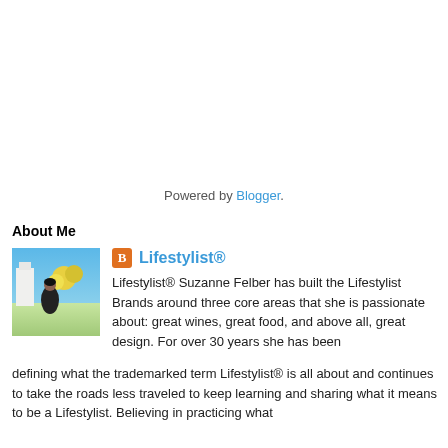Powered by Blogger.
About Me
[Figure (photo): Profile photo of Suzanne Felber outdoors with blue sky and yellow flowers in background]
Lifestylist®
Lifestylist® Suzanne Felber has built the Lifestylist Brands around three core areas that she is passionate about: great wines, great food, and above all, great design. For over 30 years she has been defining what the trademarked term Lifestylist® is all about and continues to take the roads less traveled to keep learning and sharing what it means to be a Lifestylist. Believing in practicing what